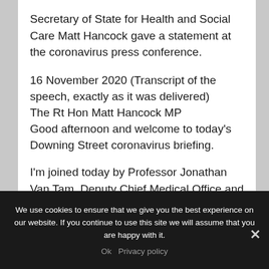Secretary of State for Health and Social Care Matt Hancock gave a statement at the coronavirus press conference.
16 November 2020 (Transcript of the speech, exactly as it was delivered)
The Rt Hon Matt Hancock MP
Good afternoon and welcome to today’s Downing Street coronavirus briefing.
I’m joined today by Professor Jonathan Van Tam, Deputy Chief Medical Office and Dr Susan
We use cookies to ensure that we give you the best experience on our website. If you continue to use this site we will assume that you are happy with it.
Ok   Privacy policy